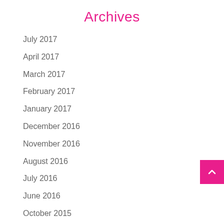Archives
July 2017
April 2017
March 2017
February 2017
January 2017
December 2016
November 2016
August 2016
July 2016
June 2016
October 2015
August 2015